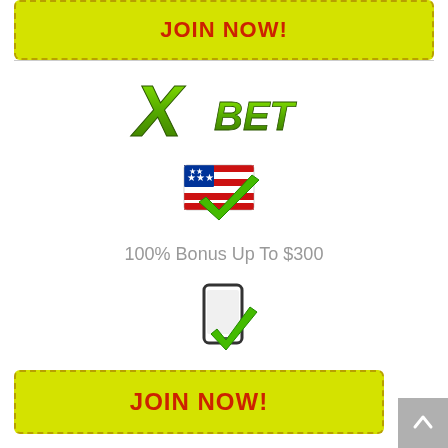[Figure (illustration): Yellow dashed-border JOIN NOW button at top]
[Figure (logo): XBET logo in green metallic style]
[Figure (illustration): US flag with green checkmark overlay]
100% Bonus Up To $300
[Figure (illustration): Mobile phone icon with green checkmark]
[Figure (illustration): Yellow dashed-border JOIN NOW button at bottom]